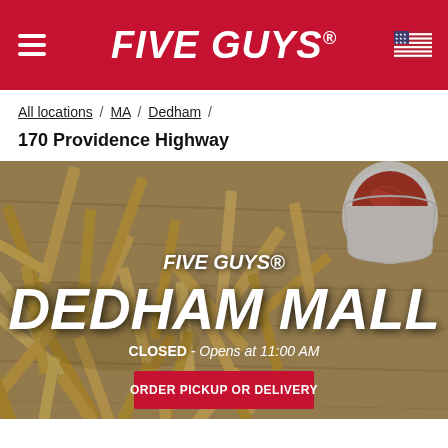FIVE GUYS
All locations / MA / Dedham /
170 Providence Highway
[Figure (photo): Hero image of Five Guys french fries scattered on a wooden surface with a cup of ketchup in the upper right corner, overlaid with text 'FIVE GUYS® DEDHAM MALL', 'CLOSED - Opens at 11:00 AM', and a red 'ORDER PICKUP OR DELIVERY' button.]